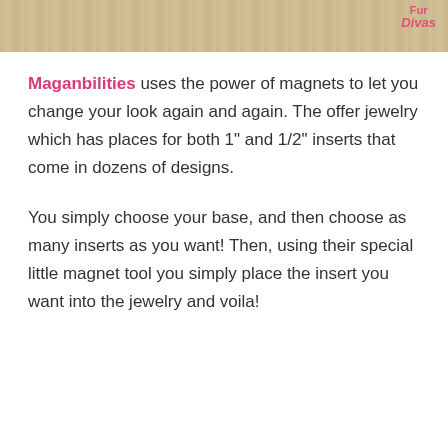[Figure (photo): Top partial image showing a wooden surface background with a pink logo reading 'Fur Divas' in the top right corner]
Maganbilities uses the power of magnets to let you change your look again and again. The offer jewelry which has places for both 1" and 1/2" inserts that come in dozens of designs.
You simply choose your base, and then choose as many inserts as you want! Then, using their special little magnet tool you simply place the insert you want into the jewelry and voila!